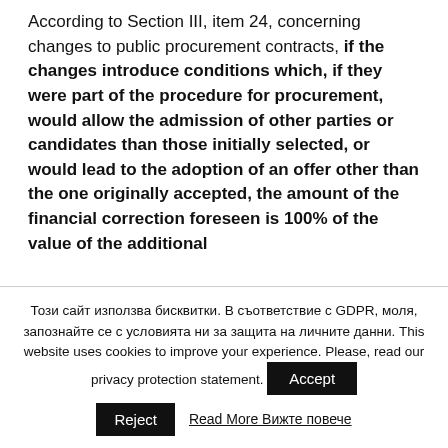According to Section III, item 24, concerning changes to public procurement contracts, if the changes introduce conditions which, if they were part of the procedure for procurement, would allow the admission of other parties or candidates than those initially selected, or would lead to the adoption of an offer other than the one originally accepted, the amount of the financial correction foreseen is 100% of the value of the additional
Този сайт използва бисквитки. В съответствие с GDPR, моля, запознайте се с условията ни за защита на личните данни. This website uses cookies to improve your experience. Please, read our privacy protection statement.